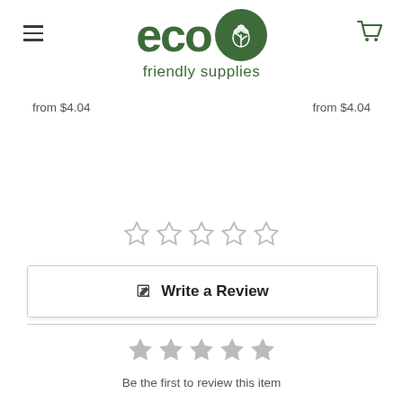[Figure (logo): Eco Friendly Supplies logo with stylized 'eco' text and a dark green circle with a leaf/plant icon]
from $4.04
from $4.04
[Figure (other): Five empty/outline star rating icons]
Write a Review
[Figure (other): Five filled gray star rating icons]
Be the first to review this item